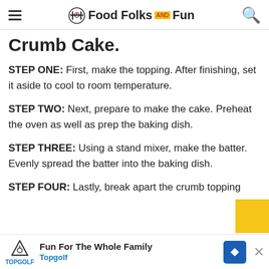Food Folks and Fun
Crumb Cake.
STEP ONE: First, make the topping. After finishing, set it aside to cool to room temperature.
STEP TWO: Next, prepare to make the cake. Preheat the oven as well as prep the baking dish.
STEP THREE: Using a stand mixer, make the batter. Evenly spread the batter into the baking dish.
STEP FOUR: Lastly, break apart the crumb topping into...
Fun For The Whole Family - Topgolf (advertisement)